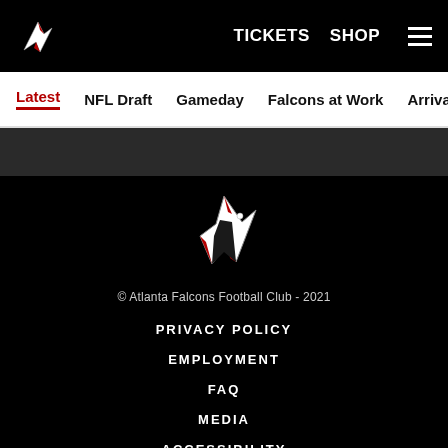TICKETS  SHOP
Latest  NFL Draft  Gameday  Falcons at Work  Arrivals  Cheer
[Figure (logo): Atlanta Falcons logo in footer - white and red falcon head on black background]
© Atlanta Falcons Football Club - 2021
PRIVACY POLICY
EMPLOYMENT
FAQ
MEDIA
ACCESSIBILITY